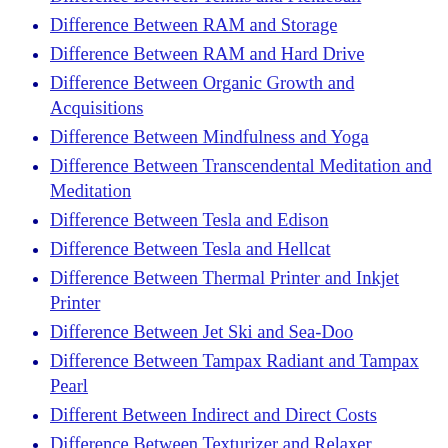Difference Between Tennis and Pickleball
Difference Between RAM and Storage
Difference Between RAM and Hard Drive
Difference Between Organic Growth and Acquisitions
Difference Between Mindfulness and Yoga
Difference Between Transcendental Meditation and Meditation
Difference Between Tesla and Edison
Difference Between Tesla and Hellcat
Difference Between Thermal Printer and Inkjet Printer
Difference Between Jet Ski and Sea-Doo
Difference Between Tampax Radiant and Tampax Pearl
Different Between Indirect and Direct Costs
Difference Between Texturizer and Relaxer
Difference Between Amyloidosis and Sarcoidosis
Difference Between Parathyroid Adenoma and Parathyroid Hyperplasia
Difference Between SuperCab and SuperCrew
Difference Between Akinesia and Akathisia
Difference Between Public Relations and Integrated Marketing Communication
Difference Between Low Flow and High Flow Oxygen
Difference Between Tamil and Sanskrit
Difference Between SharePoint and OneDrive
Difference Between Spotify and Napster
Difference Between Shawarma and Gyro